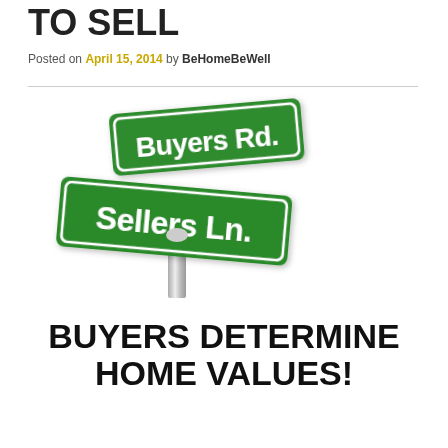TO SELL
Posted on April 15, 2014 by BeHomeBeWell
[Figure (illustration): Two crossing green street signs reading 'Buyers Rd.' and 'Sellers Ln.' on a metal pole, representing real estate buyer/seller intersection.]
BUYERS DETERMINE HOME VALUES!